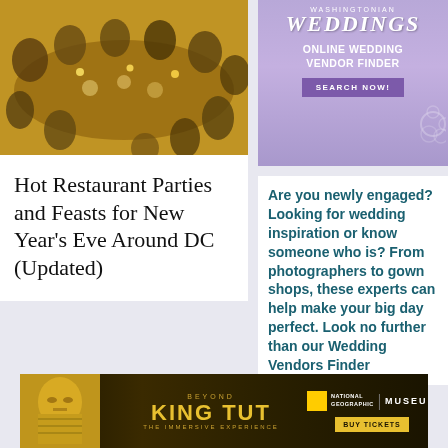[Figure (photo): Overhead aerial view of a long restaurant dinner party table with guests seated, food, and warm lighting]
Hot Restaurant Parties and Feasts for New Year's Eve Around DC (Updated)
[Figure (infographic): Wedding vendor finder advertisement banner with purple/lavender background, floral decorations, text 'ONLINE WEDDING VENDOR FINDER' and 'SEARCH NOW!' button]
Are you newly engaged? Looking for wedding inspiration or know someone who is? From photographers to gown shops, these experts can help make your big day perfect. Look no further than our Wedding Vendors Finder
[Figure (infographic): King Tut Beyond: The Immersive Experience advertisement banner showing golden pharaoh mask, National Geographic | Museum branding, and Buy Tickets button]